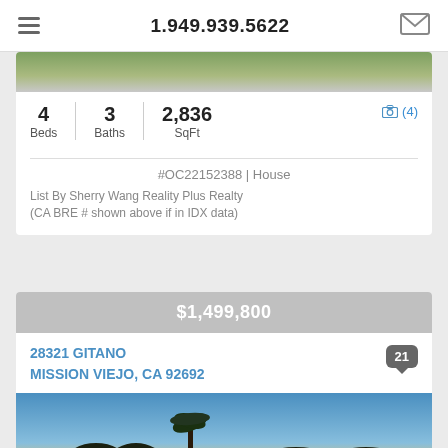1.949.939.5622
4 Beds | 3 Baths | 2,836 SqFt
(4)
#OC22152388 | House
List By Sherry Wang Reality Plus Realty (CA BRE # shown above if in IDX data)
$1,499,800
28321 GITANO
MISSION VIEJO, CA 92692
21
[Figure (photo): Exterior property photo showing palm trees and sunset sky with warm orange/yellow horizon over Mission Viejo]